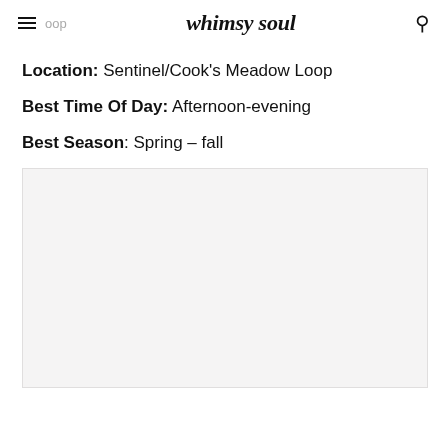whimsy soul
Location: Sentinel/Cook’s Meadow Loop
Best Time Of Day: Afternoon-evening
Best Season: Spring – fall
[Figure (photo): Large light gray placeholder image area]